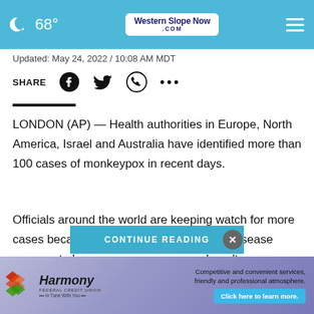68° Western Slope Now .com
Updated: May 24, 2022 / 10:08 AM MDT
SHARE
LONDON (AP) — Health authorities in Europe, North America, Israel and Australia have identified more than 100 cases of monkeypox in recent days.
Officials around the world are keeping watch for more cases because, for the first time, the rare disease appears to be s who n't
[Figure (screenshot): CONTINUE READING button overlay with close X button]
[Figure (infographic): Harmony Federal Credit Union advertisement banner with logo, slogan 'In Tune With You', text 'Competitive and convenient services, friendly and professional atmosphere. Click here to learn more.']